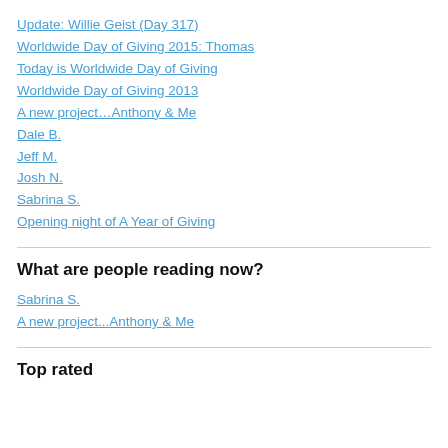Update: Willie Geist (Day 317)
Worldwide Day of Giving 2015: Thomas
Today is Worldwide Day of Giving
Worldwide Day of Giving 2013
A new project…Anthony & Me
Dale B.
Jeff M.
Josh N.
Sabrina S.
Opening night of A Year of Giving
What are people reading now?
Sabrina S.
A new project...Anthony & Me
Top rated